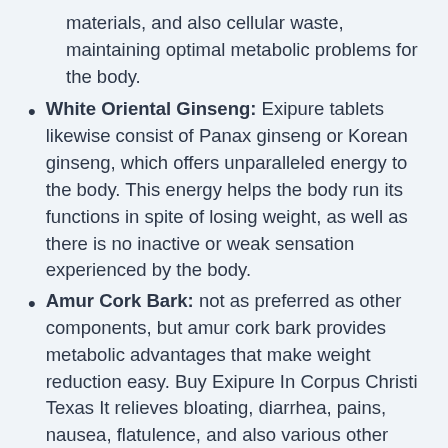materials, and also cellular waste, maintaining optimal metabolic problems for the body.
White Oriental Ginseng: Exipure tablets likewise consist of Panax ginseng or Korean ginseng, which offers unparalleled energy to the body. This energy helps the body run its functions in spite of losing weight, as well as there is no inactive or weak sensation experienced by the body.
Amur Cork Bark: not as preferred as other components, but amur cork bark provides metabolic advantages that make weight reduction easy. Buy Exipure In Corpus Christi Texas It relieves bloating, diarrhea, pains, nausea, flatulence, and also various other conditions that prevail in obese people.
Quercetin: Following...